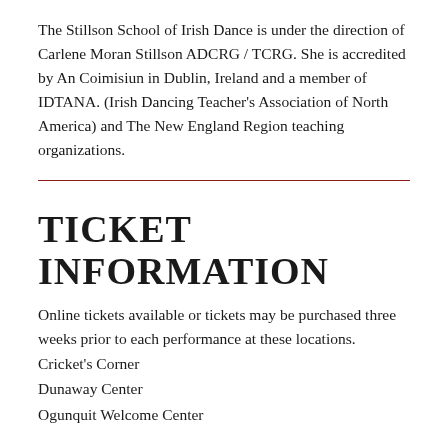The Stillson School of Irish Dance is under the direction of Carlene Moran Stillson ADCRG / TCRG. She is accredited by An Coimisiun in Dublin, Ireland and a member of IDTANA. (Irish Dancing Teacher's Association of North America) and The New England Region teaching organizations.
TICKET INFORMATION
Online tickets available or tickets may be purchased three weeks prior to each performance at these locations.
Cricket's Corner
Dunaway Center
Ogunquit Welcome Center